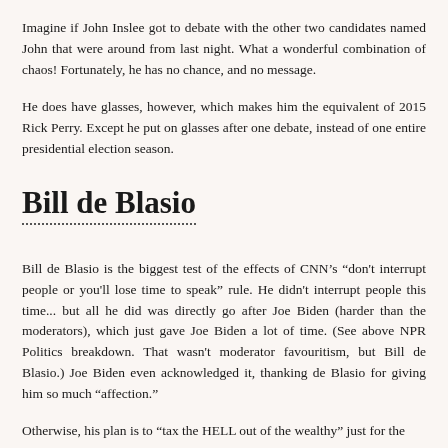Imagine if John Inslee got to debate with the other two candidates named John that were around from last night. What a wonderful combination of chaos! Fortunately, he has no chance, and no message.
He does have glasses, however, which makes him the equivalent of 2015 Rick Perry. Except he put on glasses after one debate, instead of one entire presidential election season.
Bill de Blasio
Bill de Blasio is the biggest test of the effects of CNN’s “don't interrupt people or you'll lose time to speak” rule. He didn't interrupt people this time... but all he did was directly go after Joe Biden (harder than the moderators), which just gave Joe Biden a lot of time. (See above NPR Politics breakdown. That wasn't moderator favouritism, but Bill de Blasio.) Joe Biden even acknowledged it, thanking de Blasio for giving him so much “affection.”
Otherwise, his plan is to “tax the HELL out of the wealthy” just for the